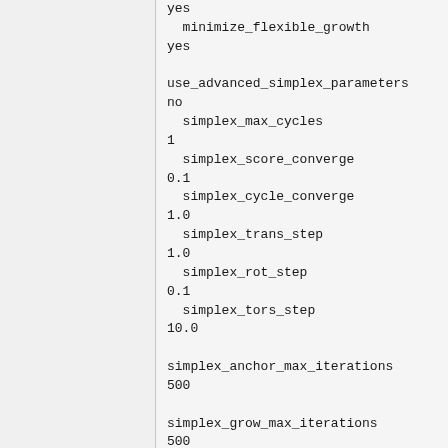yes
  minimize_flexible_growth
yes

use_advanced_simplex_parameters
no
  simplex_max_cycles
1
  simplex_score_converge
0.1
  simplex_cycle_converge
1.0
  simplex_trans_step
1.0
  simplex_rot_step
0.1
  simplex_tors_step
10.0

simplex_anchor_max_iterations
500

simplex_grow_max_iterations
500